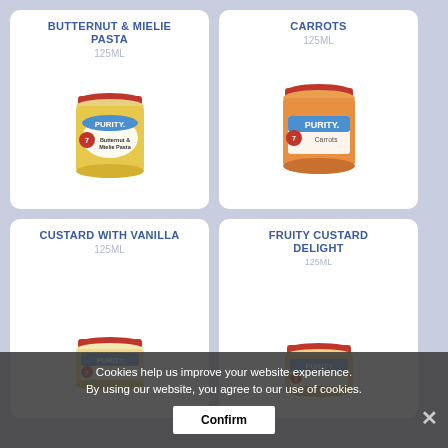[Figure (photo): Purity Butternut & Mielie Pasta 125ml baby food jar]
BUTTERNUT & MIELIE PASTA
125ML
[Figure (photo): Purity Carrots 125ml baby food jar]
CARROTS
125ML
CUSTARD WITH VANILLA
125ML
[Figure (photo): Purity Custard with Vanilla 125ml baby food jar]
FRUITY CUSTARD DELIGHT
125ML
[Figure (photo): Purity Fruity Custard Delight 125ml baby food jar]
Cookies help us improve your website experience. By using our website, you agree to our use of cookies.
Confirm